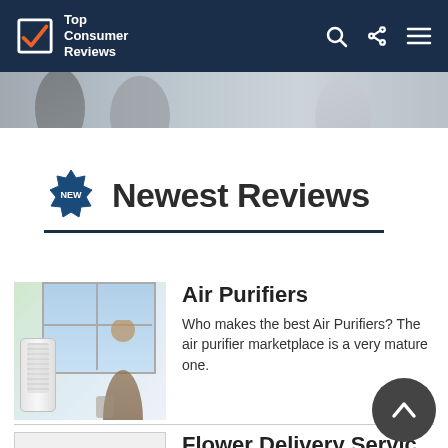Top Consumer Reviews
[Figure (photo): Hero image strip showing two people, partially cropped]
Newest Reviews
Air Purifiers
Who makes the best Air Purifiers? The air purifier marketplace is a very mature one.
Flower Delivery Services
Who offers the best flower delivery